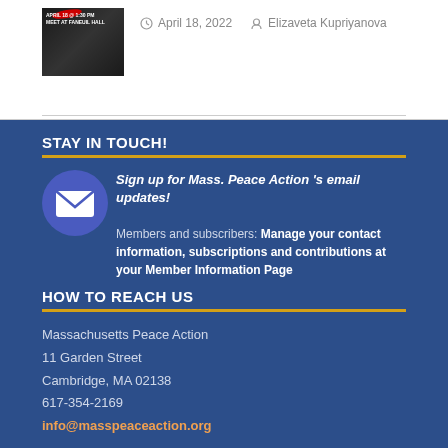[Figure (photo): Small thumbnail image with dark background, likely an event poster]
April 18, 2022   Elizaveta Kupriyanova
STAY IN TOUCH!
Sign up for Mass. Peace Action 's email updates! Members and subscribers: Manage your contact information, subscriptions and contributions at your Member Information Page
HOW TO REACH US
Massachusetts Peace Action
11 Garden Street
Cambridge, MA 02138
617-354-2169
info@masspeaceaction.org